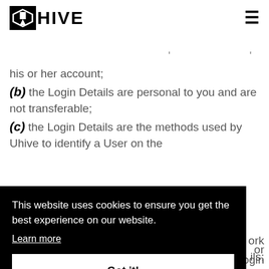UHIVE
his or her account;
(b) the Login Details are personal to you and are not transferable;
(c) the Login Details are the methods used by Uhive to identify a User on the ...all
This website uses cookies to ensure you get the best experience on our website.
Learn more
Got it!
Details must be notified to Uhive